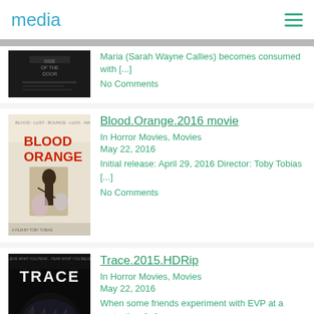media
[Figure (photo): Partial movie poster for a horror film (Side of the Door area visible)]
Maria (Sarah Wayne Callies) becomes consumed with [...]
No Comments
Blood.Orange.2016 movie
In Horror Movies, Movies
May 22, 2016
Initial release: April 29, 2016 Director: Toby Tobias [...]
No Comments
Trace.2015.HDRip
In Horror Movies, Movies
May 22, 2016
When some friends experiment with EVP at a party, they [...]
No Comments